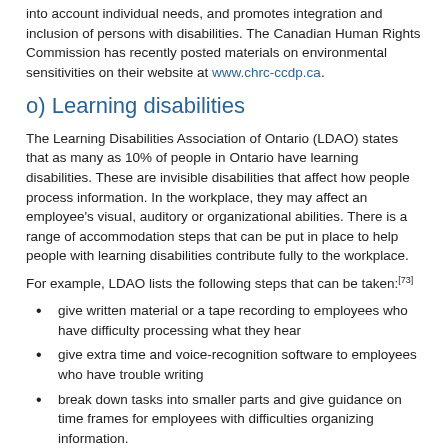into account individual needs, and promotes integration and inclusion of persons with disabilities. The Canadian Human Rights Commission has recently posted materials on environmental sensitivities on their website at www.chrc-ccdp.ca.
o) Learning disabilities
The Learning Disabilities Association of Ontario (LDAO) states that as many as 10% of people in Ontario have learning disabilities. These are invisible disabilities that affect how people process information. In the workplace, they may affect an employee's visual, auditory or organizational abilities. There is a range of accommodation steps that can be put in place to help people with learning disabilities contribute fully to the workplace.
For example, LDAO lists the following steps that can be taken:[73]
give written material or a tape recording to employees who have difficulty processing what they hear
give extra time and voice-recognition software to employees who have trouble writing
break down tasks into smaller parts and give guidance on time frames for employees with difficulties organizing information.
LDAO is included in the list of resources in Appendix C.